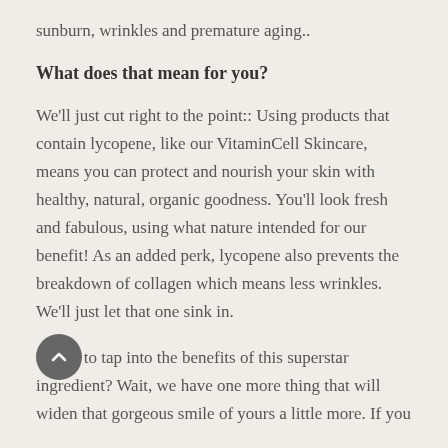sunburn, wrinkles and premature aging..
What does that mean for you?
We'll just cut right to the point:: Using products that contain lycopene, like our VitaminCell Skincare, means you can protect and nourish your skin with healthy, natural, organic goodness. You'll look fresh and fabulous, using what nature intended for our benefit! As an added perk, lycopene also prevents the breakdown of collagen which means less wrinkles. We'll just let that one sink in.
Ready to tap into the benefits of this superstar ingredient? Wait, we have one more thing that will widen that gorgeous smile of yours a little more. If you